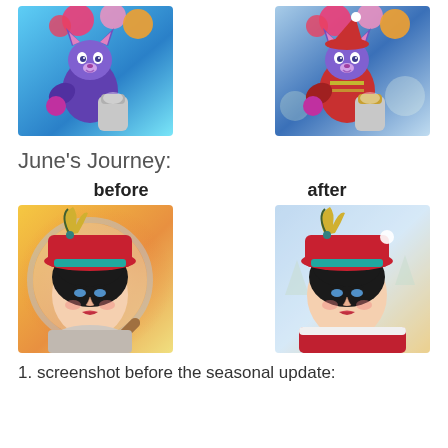[Figure (screenshot): Bubble shooter game app icon - before version, cartoon fox/cat character shooting colorful bubbles, blue background]
[Figure (screenshot): Bubble shooter game app icon - after version, same character in Christmas/winter outfit shooting colorful bubbles, snowy background]
June’s Journey:
before
after
[Figure (screenshot): June's Journey app icon - before version, illustrated woman in red hat with teal band and feather, magnifying glass, warm bokeh background]
[Figure (screenshot): June's Journey app icon - after version, same woman in red hat with feather, winter/snowy background, seasonal update]
1. screenshot before the seasonal update: